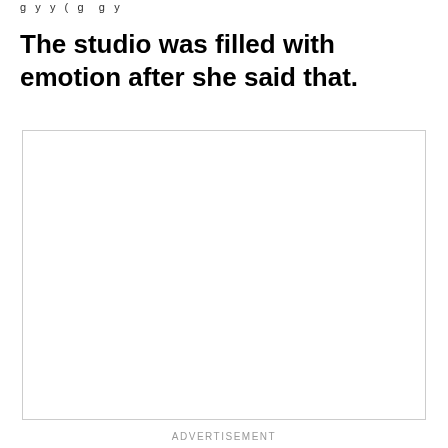g y y ( g g y
The studio was filled with emotion after she said that.
[Figure (other): Advertisement placeholder box, empty white rectangle with light grey border]
ADVERTISEMENT